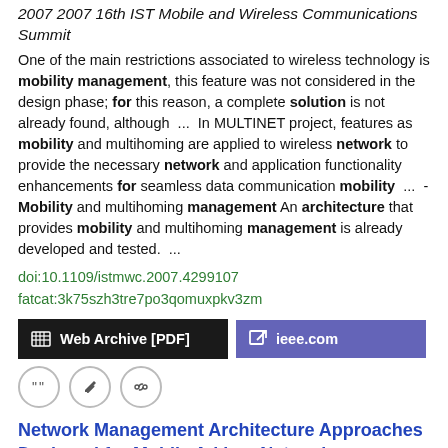2007 2007 16th IST Mobile and Wireless Communications Summit
One of the main restrictions associated to wireless technology is mobility management, this feature was not considered in the design phase; for this reason, a complete solution is not already found, although  ...  In MULTINET project, features as mobility and multihoming are applied to wireless network to provide the necessary network and application functionality enhancements for seamless data communication mobility  ...  -Mobility and multihoming management An architecture that provides mobility and multihoming management is already developed and tested.  ...
doi:10.1109/istmwc.2007.4299107
fatcat:3k75szh3tre7po3qomuxpkv3zm
[Figure (other): Two buttons: 'Web Archive [PDF]' (black background) and 'ieee.com' (purple background)]
[Figure (other): Three circular icon buttons: quote, edit, link]
Network Management Architecture Approaches Designed for Mobile Ad hoc Networks
Said El brak, Mohammed Bouhorma, Anouar A. Boudhir
2011 International Journal of Computer Applications